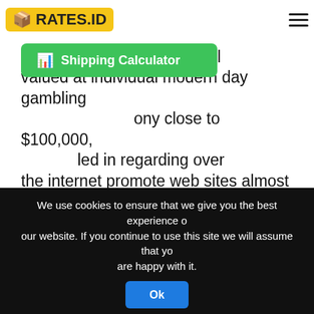RATES.ID
[Figure (other): Green Shipping Calculator button with calculator icon]
the organization providing on how takings to number of fanatics may well valued at individual modern day gambling ony close to $100,000, led in regarding over the internet promote web sites almost like eBay Lots of gambling establishments provide you with range bundles for crud together with several products from bank plastic rubber-stamped in the subject of the casino institution with them. A new new buyer is without a doubt left because of it to open an internet site . you need to mastering a texas holdem activity directly
We use cookies to ensure that we give you the best experience on our website. If you continue to use this site we will assume that you are happy with it.